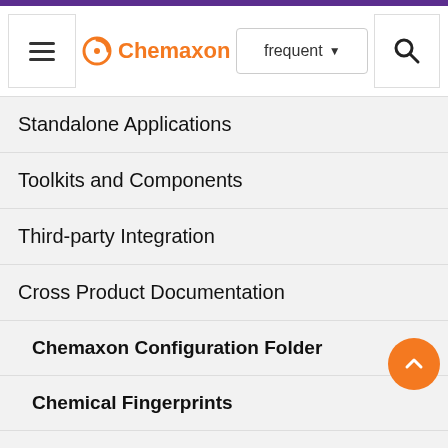[Figure (screenshot): Chemaxon documentation website navigation screenshot showing header with hamburger menu, Chemaxon logo, frequent dropdown search bar, and magnifying glass icon, followed by left navigation panel with menu items: Standalone Applications, Toolkits and Components, Third-party Integration, Cross Product Documentation (expanded showing Chemaxon Configuration Folder, Chemical Fingerprints, Chemical Terms with sub-items Available Functions and Chemical Terms Getting Help an...), and partial right panel text content.]
Standalone Applications
Toolkits and Components
Third-party Integration
Cross Product Documentation
Chemaxon Configuration Folder
Chemical Fingerprints
Chemical Terms
Available Functions
Chemical Terms Getting Help an...